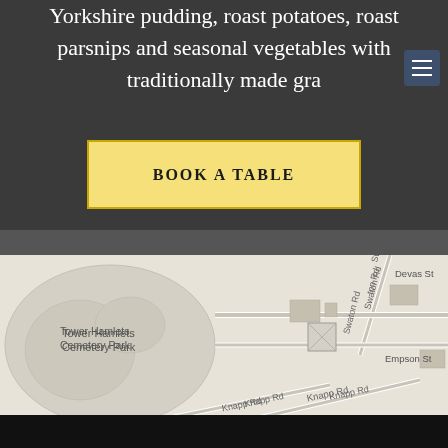Yorkshire pudding, roast potatoes, roast parsnips and seasonal vegetables with traditionally made gra
BOOK A TABLE
[Figure (map): Street map showing Tower Hamlets Cemetery Park area with roads including Swaton Rd, Knapp Rd, B140, Devas St, Empson St, St Andrews road]
This website uses cookies to improve your experience. We'll assume you're ok with this, but you can opt-out if you wish.
Cookie settings
ACCEPT